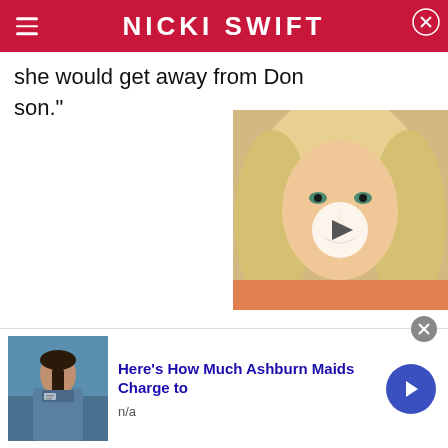NICKI SWIFT
she would get away from Don son."
[Figure (photo): Video thumbnail of a blonde woman with a play button overlay]
[Figure (photo): Ad image showing a person in blue work uniform]
Here's How Much Ashburn Maids Charge to
n/a